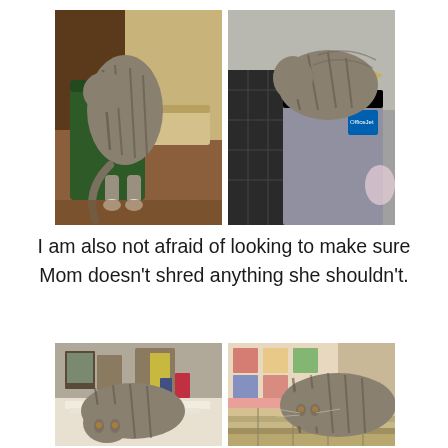[Figure (photo): Two side-by-side photos of a tabby cat. Left photo: cat with tail up, head buried in a green trash can or bin, wooden floor visible, basket in background. Right photo: cat climbing into or over an HP OfficeJet printer box, shelving unit behind.]
I am also not afraid of looking to make sure Mom doesn't shred anything she shouldn't.
[Figure (photo): Two side-by-side photos of a tabby cat looking at papers/documents. Left: cat sniffing or reading papers/books on a cluttered desk with pictures and items in the background. Right: cat leaning over a stack of magazines or books on a table with a quilt/blanket visible.]